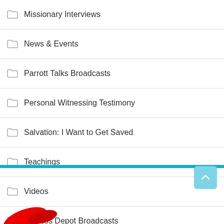Missionary Interviews
News & Events
Parrott Talks Broadcasts
Personal Witnessing Testimony
Salvation: I Want to Get Saved
Teachings
Videos
Witness Depot Broadcasts
Witness Depot University
Witness Training Videos
Witnessing Articles
Witnessing Tips & Tools